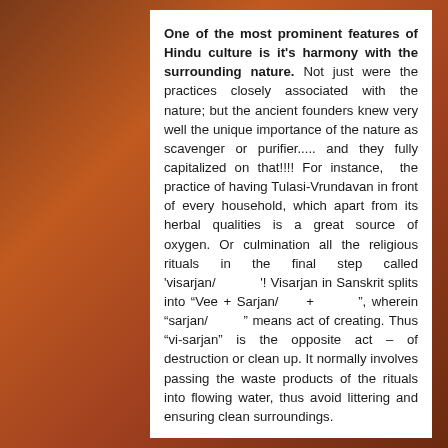One of the most prominent features of Hindu culture is it's harmony with the surrounding nature. Not just were the practices closely associated with the nature; but the ancient founders knew very well the unique importance of the nature as scavenger or purifier..... and they fully capitalized on that!!!! For instance, the practice of having Tulasi-Vrundavan in front of every household, which apart from its herbal qualities is a great source of oxygen. Or culmination all the religious rituals in the final step called 'visarjan/         '! Visarjan in Sanskrit splits into "Vee + Sarjan/     +        ", wherein "sarjan/        " means act of creating. Thus "vi-sarjan" is the opposite act – of destruction or clean up. It normally involves passing the waste products of the rituals into flowing water, thus avoid littering and ensuring clean surroundings.